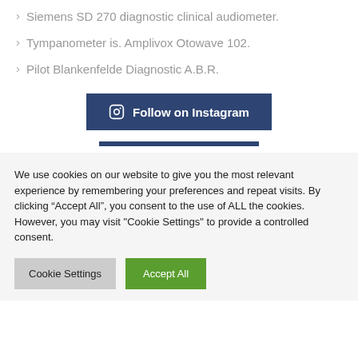Siemens SD 270 diagnostic clinical audiometer.
Tympanometer is. Amplivox Otowave 102.
Pilot Blankenfelde Diagnostic A.B.R.
[Figure (other): Follow on Instagram button with Instagram icon, dark blue background]
We use cookies on our website to give you the most relevant experience by remembering your preferences and repeat visits. By clicking “Accept All”, you consent to the use of ALL the cookies. However, you may visit "Cookie Settings" to provide a controlled consent.
Cookie Settings | Accept All